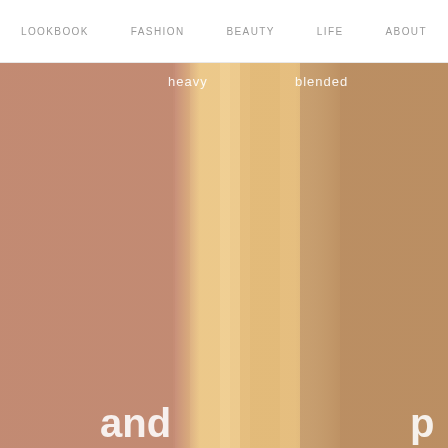LOOKBOOK   FASHION   BEAUTY   LIFE   ABOUT
[Figure (photo): Close-up photo of a wrist/forearm with beauty foundation swatches showing heavy application and blended application side by side on skin tone. Labels include 'heavy', 'blended', 'and', 'p' overlaid in white text.]